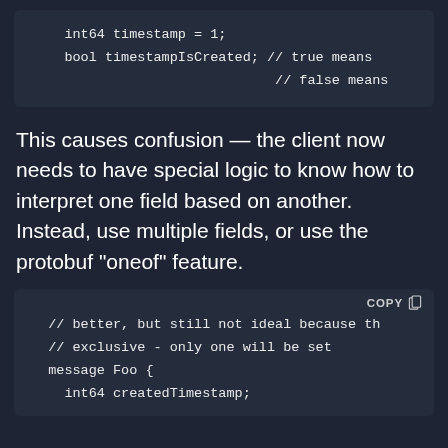[Figure (screenshot): Code block showing protobuf field declarations: int64 timestamp = 1; bool timestampIsCreated; // true means // false means]
This causes confusion — the client now needs to have special logic to know how to interpret one field based on another. Instead, use multiple fields, or use the protobuf “oneof” feature.
[Figure (screenshot): Code block with COPY button showing: // better, but still not ideal because th // exclusive - only one will be set message Foo { int64 createdTimestamp;]